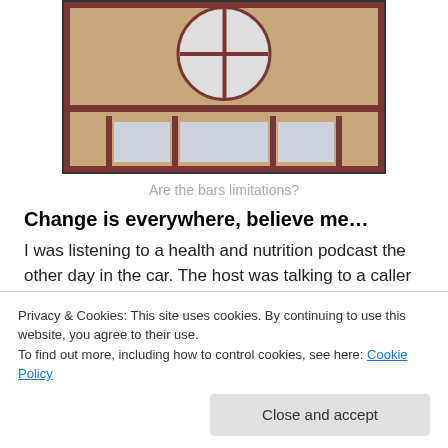[Figure (photo): A wooden door with glass panels and a circular window at the top with a cross/grid pattern. The door has a warm brown wood finish with darker brown dividers and three rectangular glass panels at the bottom.]
Are the bars limitations?
Change is everywhere, believe me…
I was listening to a health and nutrition podcast the other day in the car. The host was talking to a caller who had some health issues. He was giving advice on the right
Privacy & Cookies: This site uses cookies. By continuing to use this website, you agree to their use.
To find out more, including how to control cookies, see here: Cookie Policy
host said while what I'm telling you may seem